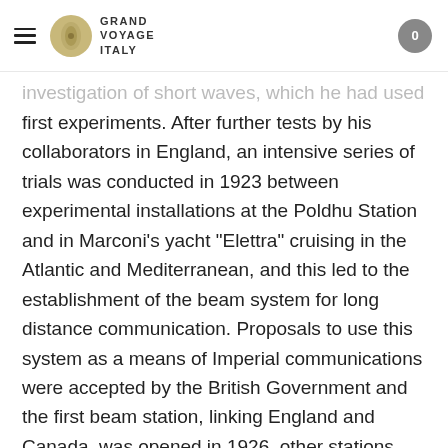GRAND VOYAGE ITALY
investigation of short waves, which he had used in his first experiments. After further tests by his collaborators in England, an intensive series of trials was conducted in 1923 between experimental installations at the Poldhu Station and in Marconi's yacht "Elettra" cruising in the Atlantic and Mediterranean, and this led to the establishment of the beam system for long distance communication. Proposals to use this system as a means of Imperial communications were accepted by the British Government and the first beam station, linking England and Canada, was opened in 1926, other stations being added the following year.
In 1931 Marconi began research into the propagation